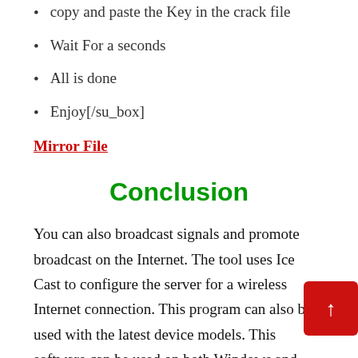copy and paste the Key in the crack file
Wait For a seconds
All is done
Enjoy[/su_box]
Mirror File
Conclusion
You can also broadcast signals and promote broadcast on the Internet. The tool uses Ice Cast to configure the server for a wireless Internet connection. This program can also be used with the latest device models. This software can be used on both Windows and Mac OS. This is because this software allows you to be a host and make this work professional. It doesn't matter if you